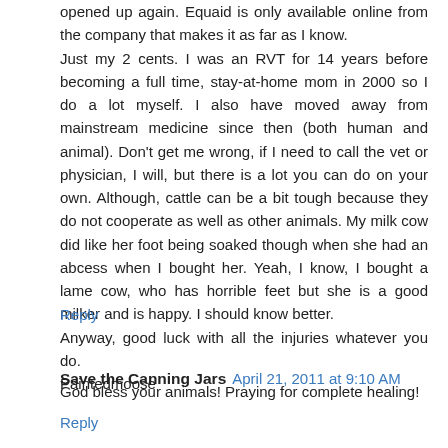opened up again. Equaid is only available online from the company that makes it as far as I know.
Just my 2 cents. I was an RVT for 14 years before becoming a full time, stay-at-home mom in 2000 so I do a lot myself. I also have moved away from mainstream medicine since then (both human and animal). Don't get me wrong, if I need to call the vet or physician, I will, but there is a lot you can do on your own. Although, cattle can be a bit tough because they do not cooperate as well as other animals. My milk cow did like her foot being soaked though when she had an abcess when I bought her. Yeah, I know, I bought a lame cow, who has horrible feet but she is a good milker and is happy. I should know better.
Anyway, good luck with all the injuries whatever you do.
Paintedmoose
Reply
Save the Canning Jars  April 21, 2011 at 9:10 AM
God bless your animals! Praying for complete healing!
Reply